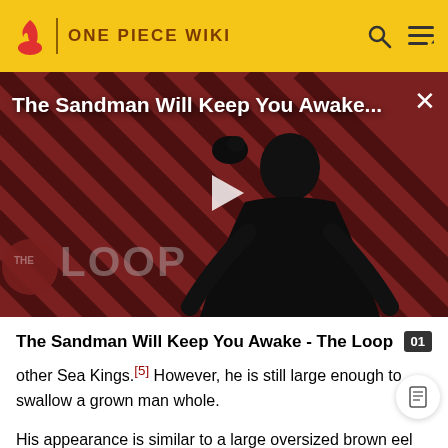ONE PIECE WIKI
[Figure (screenshot): Video player overlay showing 'The Sandman Will Keep You Awake...' title with a dark-cloaked figure character, The Loop badge at bottom left, and a play button in the center, on a red diagonal striped background.]
The Sandman Will Keep You Awake - The Loop
other Sea Kings.[5] However, he is still large enough to swallow a grown man whole.
His appearance is similar to a large oversized brown eel